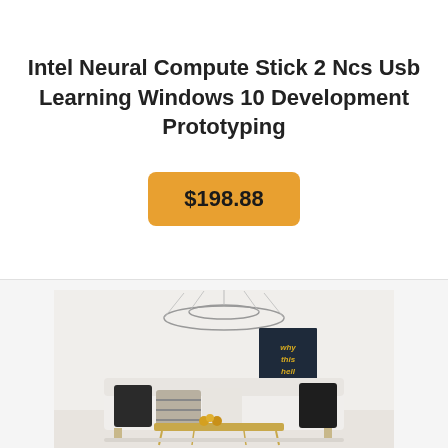Intel Neural Compute Stick 2 Ncs Usb Learning Windows 10 Development Prototyping
$198.88
[Figure (photo): Photo of a modern living room with a circular wire chandelier hanging from the ceiling, a dark-framed motivational poster on the wall, a white sofa with black and striped pillows, and a gold/brass coffee table.]